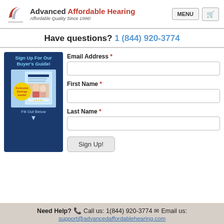Advanced Affordable Hearing — Affordable Quality Since 1996! | MENU | Cart
Have questions? 1 (844) 920-3774
[Figure (illustration): Sign Up For Our Buyer's Guide promotional box with exclusive savings badge and couple photo, with 'Fill Out Below' text and arrow]
Email Address *
First Name *
Last Name *
Sign Up!
Need Help? Call us: 1(844) 920-3774 Email us: support@advancedaffordablehearing.com